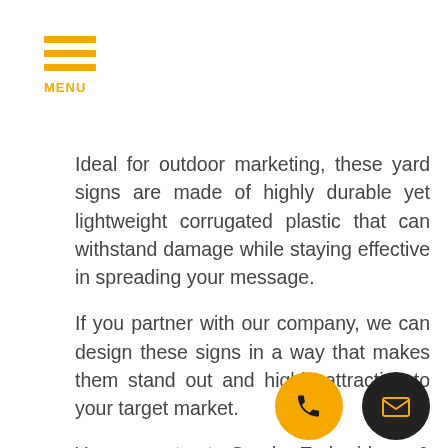MENU
Ideal for outdoor marketing, these yard signs are made of highly durable yet lightweight corrugated plastic that can withstand damage while staying effective in spreading your message.
If you partner with our company, we can design these signs in a way that makes them stand out and highly attractive to your target market.
You can trust Spark Embroidery & Printing for these products. We are a long-time player in the signage industry, satisfying many customers throughout the years.
With our signage experts, graphic designers, and engineers, rest assured that all your signage and advertising products will be delivered at the highest possible quality. Get your game going and...